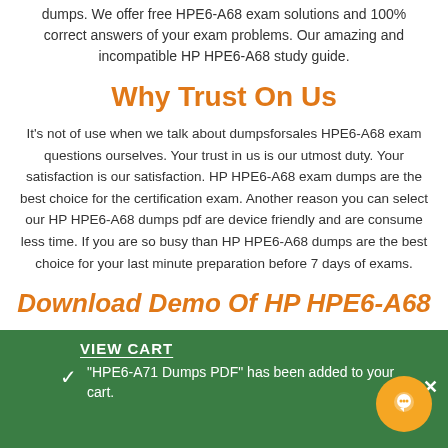dumps. We offer free HPE6-A68 exam solutions and 100% correct answers of your exam problems. Our amazing and incompatible HP HPE6-A68 study guide.
Why Trust On Us
It's not of use when we talk about dumpsforsales HPE6-A68 exam questions ourselves. Your trust in us is our utmost duty. Your satisfaction is our satisfaction. HP HPE6-A68 exam dumps are the best choice for the certification exam. Another reason you can select our HP HPE6-A68 dumps pdf are device friendly and are consume less time. If you are so busy than HP HPE6-A68 dumps are the best choice for your last minute preparation before 7 days of exams.
Download Demo Of HP HPE6-A68
VIEW CART
"HPE6-A71 Dumps PDF" has been added to your cart.